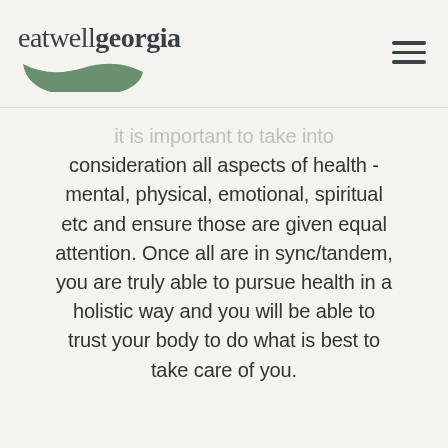eatwell georgia
...it is important to take into consideration all aspects of health - mental, physical, emotional, spiritual etc and ensure those are given equal attention. Once all are in sync/tandem, you are truly able to pursue health in a holistic way and you will be able to trust your body to do what is best to take care of you.